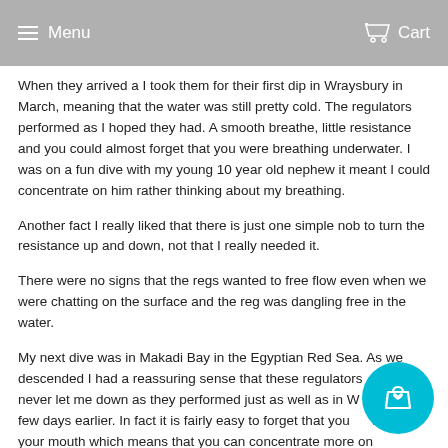Menu   Cart
When they arrived a I took them for their first dip in Wraysbury in March, meaning that the water was still pretty cold. The regulators performed as I hoped they had. A smooth breathe, little resistance and you could almost forget that you were breathing underwater. I was on a fun dive with my young 10 year old nephew it meant I could concentrate on him rather thinking about my breathing.
Another fact I really liked that there is just one simple nob to turn the resistance up and down, not that I really needed it.
There were no signs that the regs wanted to free flow even when we were chatting on the surface and the reg was dangling free in the water.
My next dive was in Makadi Bay in the Egyptian Red Sea. As we descended I had a reassuring sense that these regulators would never let me down as they performed just as well as in Wraysbury a few days earlier. In fact it is fairly easy to forget that you have a reg in your mouth which means that you can concentrate more on